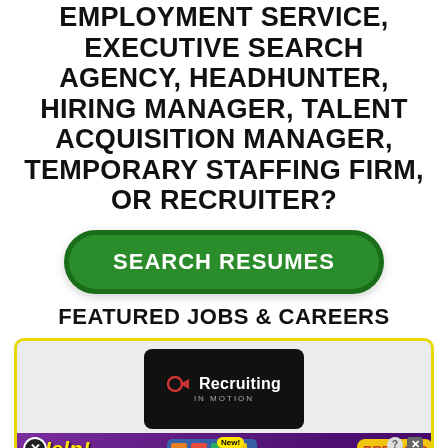EMPLOYMENT SERVICE, EXECUTIVE SEARCH AGENCY, HEADHUNTER, HIRING MANAGER, TALENT ACQUISITION MANAGER, TEMPORARY STAFFING FIRM, OR RECRUITER?
SEARCH RESUMES
FEATURED JOBS & CAREERS
[Figure (screenshot): Job listing card with Recruiting in Motion logo, an ad banner overlay, and job title text 'Lab Analyst for Cannabis, Hemp, CBD Testing Laboratory Company in Fort...']
Lab Analyst for Cannabis, Hemp, CBD Testing Laboratory Company in Fort